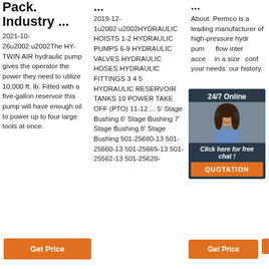Pack. Industry ...
2021-10-26u2002·u2002The HY-TWIN AIR hydraulic pump gives the operator the power they need to utilize 10,000 ft. lb. Fitted with a five-gallon reservoir this pump will have enough oil to power up to four large tools at once.
Get Price
...
2019-12-1u2002·u2002HYDRAULIC HOISTS 1-2 HYDRAULIC PUMPS 6-9 HYDRAULIC VALVES HYDRAULIC HOSES HYDRAULIC FITTINGS 3 4 5 HYDRAULIC RESERVOIR TANKS 10 POWER TAKE OFF (PTO) 11-12 ... 5' Stage Bushing 6' Stage Bushing 7' Stage Bushing 8' Stage Bushing 501-25680-13 501-25660-13 501-25665-13 501-25562-13 501-25620-
...
About. Permco is a leading manufacturer of high-pressure hydraulic pumps, flow dividers, intensifiers, accesories in a variety of sizes to configure your needs. our history.
[Figure (photo): Customer service representative with headset, dark background with '24/7 Online' header text and 'Click here for free chat!' text, orange QUOTATION button]
Get Price